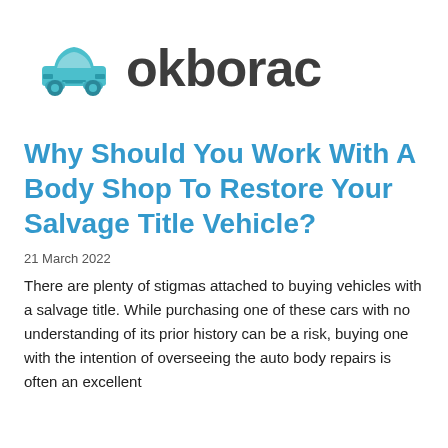[Figure (logo): Okborac logo: teal/cyan car icon silhouette on the left, followed by the text 'okborac' in dark gray bold sans-serif font]
Why Should You Work With A Body Shop To Restore Your Salvage Title Vehicle?
21 March 2022
There are plenty of stigmas attached to buying vehicles with a salvage title. While purchasing one of these cars with no understanding of its prior history can be a risk, buying one with the intention of overseeing the auto body repairs is often an excellent